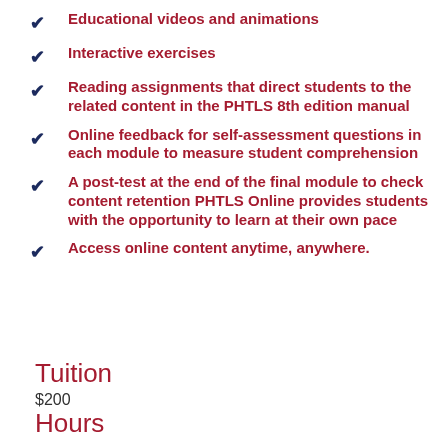Educational videos and animations
Interactive exercises
Reading assignments that direct students to the related content in the PHTLS 8th edition manual
Online feedback for self-assessment questions in each module to measure student comprehension
A post-test at the end of the final module to check content retention PHTLS Online provides students with the opportunity to learn at their own pace
Access online content anytime, anywhere.
Tuition
$200
Hours